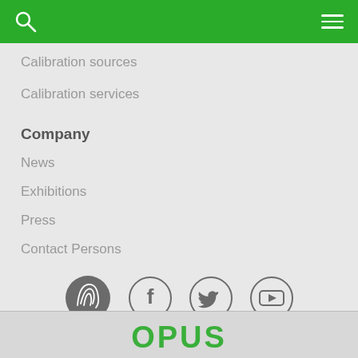Calibration sources
Calibration services
Company
News
Exhibitions
Press
Contact Persons
[Figure (logo): Social media icons: company logo (fingerprint waves), Facebook, Twitter, YouTube — all in dark gray circle outlines on light gray background]
OPUS